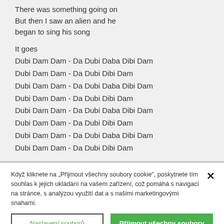There was something going on
But then I saw an alien and he began to sing his song
It goes
Dubi Dam Dam - Da Dubi Daba Dibi Dam
Dubi Dam Dam - Da Dubi Dibi Dam
Dubi Dam Dam - Da Dubi Daba Dibi Dam
Dubi Dam Dam - Da Dubi Dibi Dam
Dubi Dam Dam - Da Dubi Daba Dibi Dam
Dubi Dam Dam - Da Dubi Dibi Dam
Dubi Dam Dam - Da Dubi Daba Dibi Dam
Dubi Dam Dam - Da Dubi Dibi Dam
Když kliknete na „Přijmout všechny soubory cookie", poskytnete tím souhlas k jejich ukládání na vašem zařízení, což pomáhá s navigací na stránce, s analýzou využití dat a s našimi marketingovými snahami.
Nastavení souborů cookie
Přijmout všechny soubory cookie